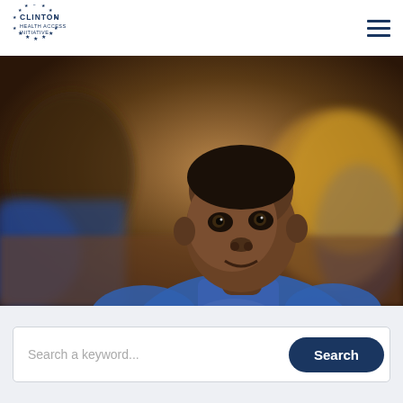[Figure (logo): Clinton Health Access Initiative logo — circular arrangement of blue stars with text CLINTON HEALTH ACCESS INITIATIVE]
[Figure (photo): Close-up photograph of a young African child wearing a blue and white raglan t-shirt, looking directly at the camera, with blurred people in the background]
Search a keyword...
Search